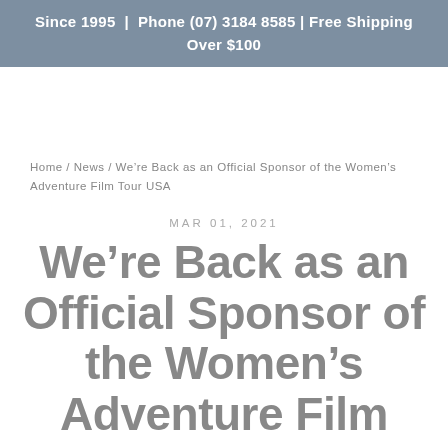Since 1995  |  Phone (07) 3184 8585 | Free Shipping Over $100
Home / News / We're Back as an Official Sponsor of the Women's Adventure Film Tour USA
MAR 01, 2021
We're Back as an Official Sponsor of the Women's Adventure Film Tour USA